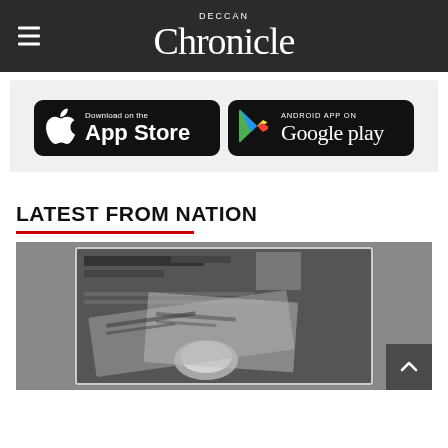Deccan Chronicle
[Figure (logo): Deccan Chronicle logo with hamburger menu icon on dark grey header bar]
[Figure (infographic): Two app download buttons: 'Download on the App Store' (Apple) and 'Android App on Google Play' on black rounded rectangle backgrounds]
LATEST FROM NATION
[Figure (photo): Black and white photograph of scattered newspapers with a coffee cup, overlaid on a blurred newspaper background]